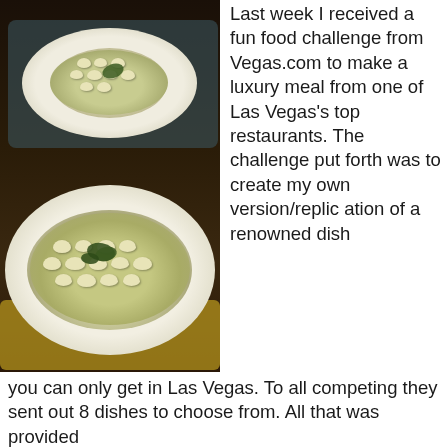[Figure (photo): Two white plates of gnocchi in green cream sauce, one in background on teal placemat, one in foreground on yellow placemat, on a dark wooden table.]
Last week I received a fun food challenge from Vegas.com to make a luxury meal from one of Las Vegas's top restaurants. The challenge put forth was to create my own version/replication of a renowned dish you can only get in Las Vegas. To all competing they sent out 8 dishes to choose from. All that was provided